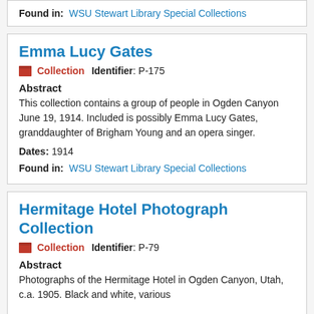Found in: WSU Stewart Library Special Collections
Emma Lucy Gates
Collection   Identifier: P-175
Abstract
This collection contains a group of people in Ogden Canyon June 19, 1914. Included is possibly Emma Lucy Gates, granddaughter of Brigham Young and an opera singer.
Dates: 1914
Found in: WSU Stewart Library Special Collections
Hermitage Hotel Photograph Collection
Collection   Identifier: P-79
Abstract
Photographs of the Hermitage Hotel in Ogden Canyon, Utah, c.a. 1905. Black and white, various